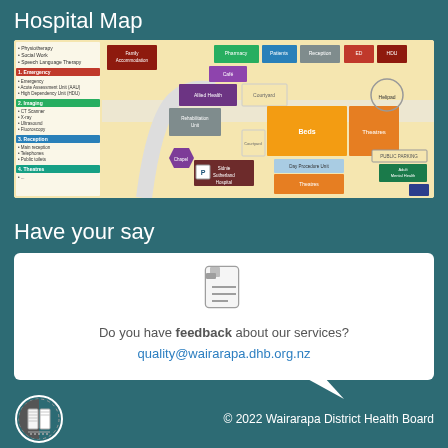Hospital Map
[Figure (map): Colour-coded hospital floor plan/map showing departments including Pharmacy, Patients, Reception, ED, Café, Allied Health, Courtyard, Beds, Theatres, Rehabilitation Unit, Chapel, Day Procedure Unit, Sidnie Sutherland Hospital, Public Parking, Adult Mental Health, Helipad. Legend on left lists Physiotherapy, Social Work, Speech Language Therapy, Emergency, Acute Assessment Unit (AAU), High Dependency Unit (HDU), Imaging (CT Scanner, X-ray, Ultrasound, Fluoroscopy), Reception (Main reception, Telephones, Public toilets), Theatres.]
Have your say
Do you have feedback about our services? quality@wairarapa.dhb.org.nz
© 2022 Wairarapa District Health Board